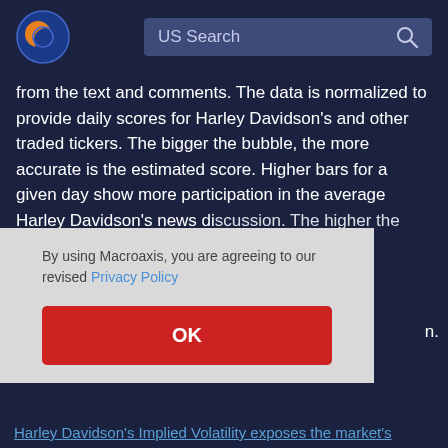US Search
from the text and comments. The data is normalized to provide daily scores for Harley Davidson's and other traded tickers. The bigger the bubble, the more accurate is the estimated score. Higher bars for a given day show more participation in the average Harley Davidson's news discussion. The higher the estimated score, the more accurate the indication.
By using Macroaxis, you are agreeing to our revised Privacy Policy
OK
Harley Davidson's Implied Volatility exposes the market's